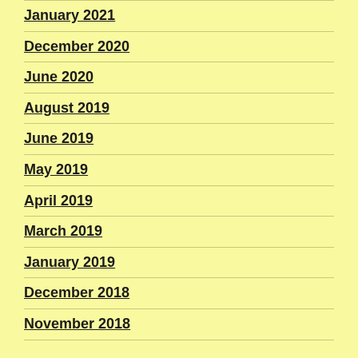January 2021
December 2020
June 2020
August 2019
June 2019
May 2019
April 2019
March 2019
January 2019
December 2018
November 2018